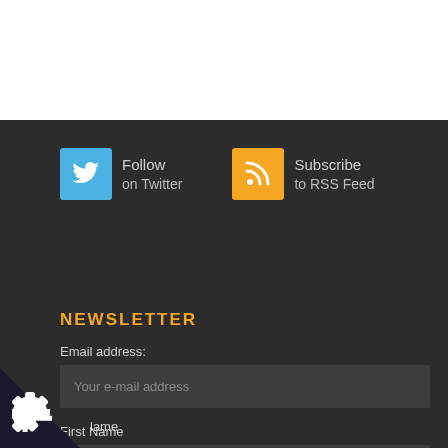[Figure (screenshot): White header region at top of page]
[Figure (infographic): Social media buttons: Twitter follow button (blue icon) and RSS Feed subscribe button (orange icon) on dark background]
NEWSLETTER
Email address:
Your e-mail address
First Name
lame